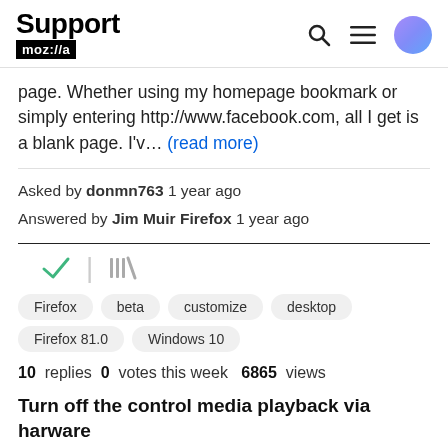Support mozilla
page. Whether using my homepage bookmark or simply entering http://www.facebook.com, all I get is a blank page. I'v… (read more)
Asked by donmn763 1 year ago
Answered by Jim Muir Firefox 1 year ago
[Figure (other): Checkmark icon and library/stack icon]
Firefox
beta
customize
desktop
Firefox 81.0
Windows 10
10 replies  0 votes this week  6865 views
Turn off the control media playback via harware